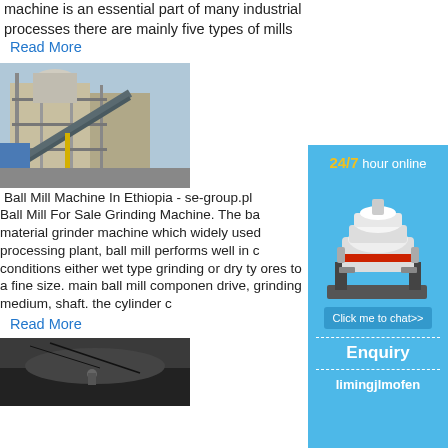machine is an essential part of many industrial processes there are mainly five types of mills
Read More
[Figure (photo): Industrial ball mill machine installation at a plant site with scaffolding and conveyor structures]
Ball Mill Machine In Ethiopia - se-group.pl
Ball Mill For Sale Grinding Machine. The ba material grinder machine which widely used processing plant, ball mill performs well in conditions either wet type grinding or dry ty ores to a fine size. main ball mill componen drive, grinding medium, shaft. the cylinder c
Read More
[Figure (photo): Aerial or ground level view of a dark surface with equipment, possibly a ball mill site in Ethiopia]
[Figure (infographic): Sidebar advertisement showing 24/7 hour online service with a cone crusher machine image, Click me to chat button, Enquiry section, and limingjlmofen branding on blue background]